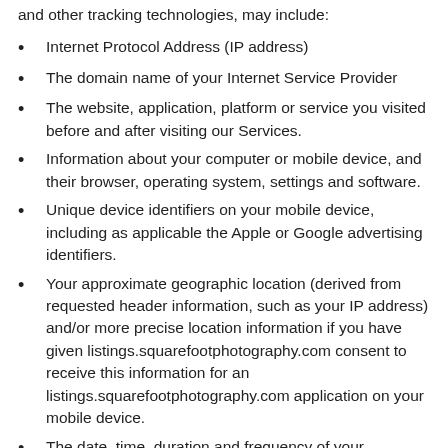and other tracking technologies, may include:
Internet Protocol Address (IP address)
The domain name of your Internet Service Provider
The website, application, platform or service you visited before and after visiting our Services.
Information about your computer or mobile device, and their browser, operating system, settings and software.
Unique device identifiers on your mobile device, including as applicable the Apple or Google advertising identifiers.
Your approximate geographic location (derived from requested header information, such as your IP address) and/or more precise location information if you have given listings.squarefootphotography.com consent to receive this information for an listings.squarefootphotography.com application on your mobile device.
The date, time, duration and frequency of your